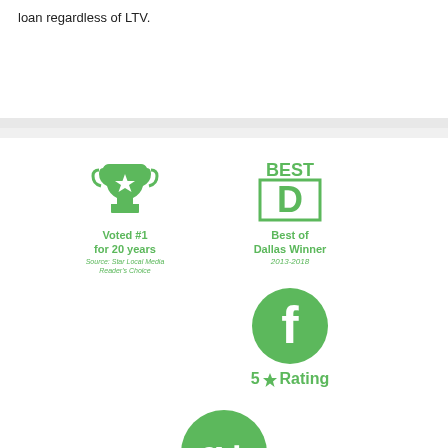loan regardless of LTV.
[Figure (logo): Green trophy icon with star, text 'Voted #1 for 20 years', source: Star Local Media Reader's Choice]
[Figure (logo): Best D Dallas Magazine logo in green, text 'Best of Dallas Winner 2013-2018']
[Figure (logo): Green circle with white Facebook 'f' icon, text '5 star Rating']
[Figure (logo): Green circle with white Google+ icon]